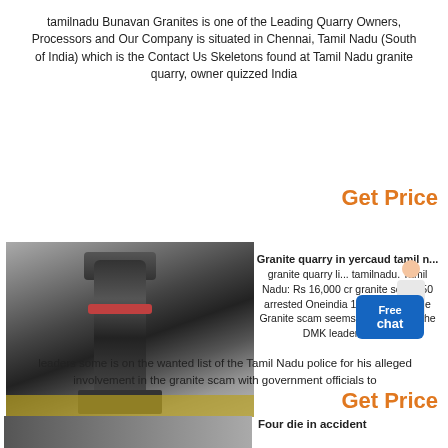tamilnadu Bunavan Granites is one of the Leading Quarry Owners, Processors and Our Company is situated in Chennai, Tamil Nadu (South of India) which is the Contact Us Skeletons found at Tamil Nadu granite quarry, owner quizzed India
Get Price
[Figure (photo): Industrial machine (cone crusher or mill) inside a large factory/workshop building]
Granite quarry in yercaud tamil n... granite quarry li... tamilnadu. Tamil Nadu: Rs 16,000 cr granite scam, 50 arrested Oneindia 17 Sep 2012 The Granite scam seems to be costing the DMK leaders some is on the wanted list of the Tamil Nadu police for his alleged involvement in the granite scam with government officials to
Get Price
[Figure (photo): Bottom image strip - industrial scene]
Four die in accident